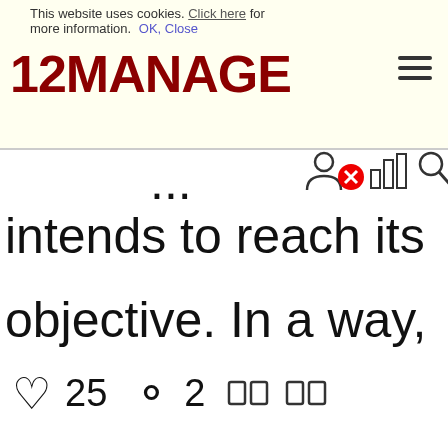This website uses cookies. Click here for more information. OK, Close
[Figure (logo): 12MANAGE logo in dark red bold text]
intends to reach its objective. In a way,
♡ 25   ○ 2
How to Implement a Process Once it has